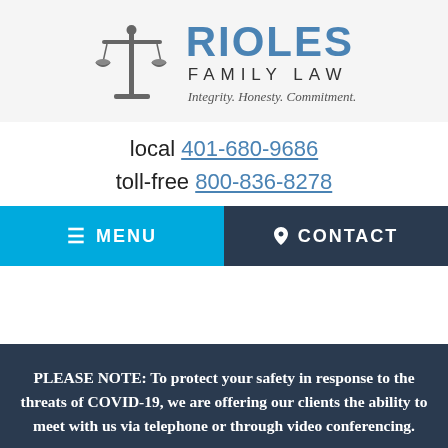[Figure (logo): Rioles Family Law logo with scales of justice icon and text: RIOLES FAMILY LAW, Integrity. Honesty. Commitment.]
local 401-680-9686
toll-free 800-836-8278
≡ MENU
📍 CONTACT
PLEASE NOTE: To protect your safety in response to the threats of COVID-19, we are offering our clients the ability to meet with us via telephone or through video conferencing.